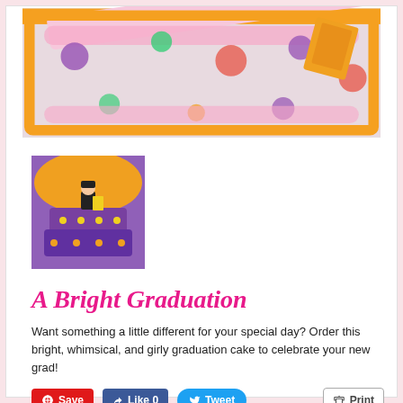[Figure (photo): Top photo of a colorful graduation cake board with orange and pink stripes, polka dots, and a diploma decoration]
[Figure (photo): Thumbnail photo of a purple and orange graduation cake with a graduate figure topper and star decorations]
A Bright Graduation
Want something a little different for your special day? Order this bright, whimsical, and girly graduation cake to celebrate your new grad!